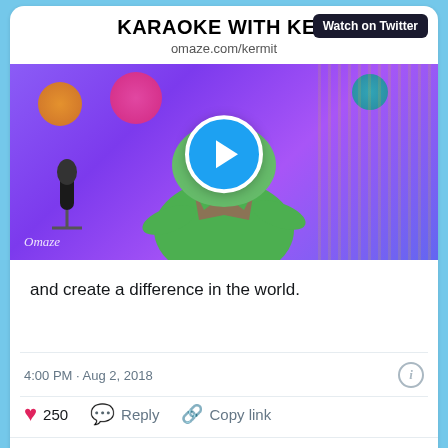KARAOKE WITH KER
Watch on Twitter
omaze.com/kermit
[Figure (screenshot): Video thumbnail showing Kermit the Frog at a karaoke stage with colorful decorations and a play button overlay. Omaze watermark in bottom left.]
and create a difference in the world.
4:00 PM · Aug 2, 2018
250  Reply  Copy link
Read 12 replies